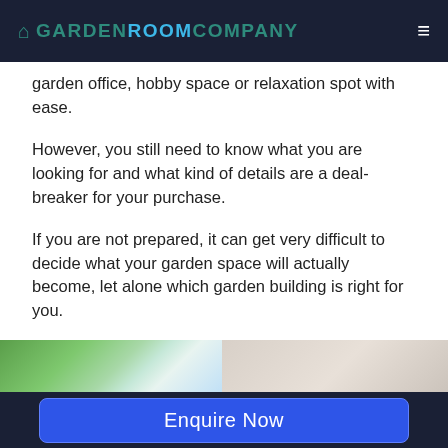GARDEN ROOM COMPANY
garden office, hobby space or relaxation spot with ease.
However, you still need to know what you are looking for and what kind of details are a deal-breaker for your purchase.
If you are not prepared, it can get very difficult to decide what your garden space will actually become, let alone which garden building is right for you.
[Figure (photo): Two side-by-side images partially visible at the bottom: left shows green trees/garden scene, right shows a grey/neutral interior or exterior surface.]
Enquire Now